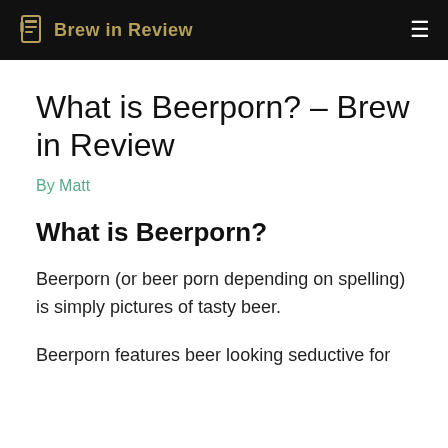Brew in Review
What is Beerporn? – Brew in Review
By Matt
What is Beerporn?
Beerporn (or beer porn depending on spelling) is simply pictures of tasty beer.
Beerporn features beer looking seductive for